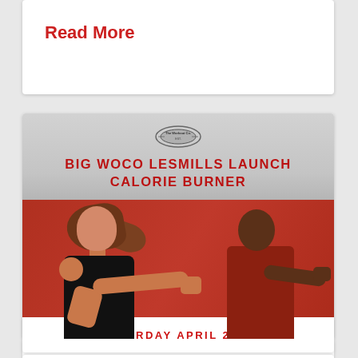Read More
[Figure (photo): Promotional event image for Big WoCo LesMills Launch Calorie Burner event showing two fighters in boxing poses against a red background, with The Workout Co. logo at top]
SATURDAY APRIL 24TH